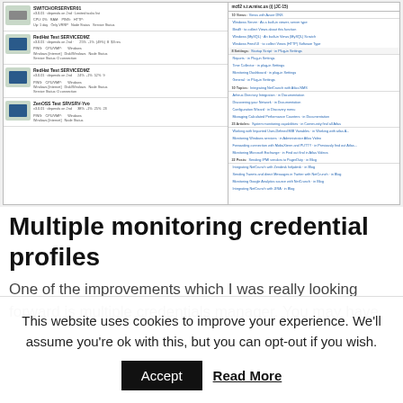[Figure (screenshot): Screenshot of a network/server monitoring dashboard UI showing multiple monitored hosts on the left panel with thumbnails, stats, and service status, and a right panel showing topics/articles list including Views, Windows Server, Tools, Plugins, Settings, and Topics sections with hyperlinked article titles.]
Multiple monitoring credential profiles
One of the improvements which I was really looking forward is multiple credentials manager. You may have
This website uses cookies to improve your experience. We'll assume you're ok with this, but you can opt-out if you wish.
Accept
Read More